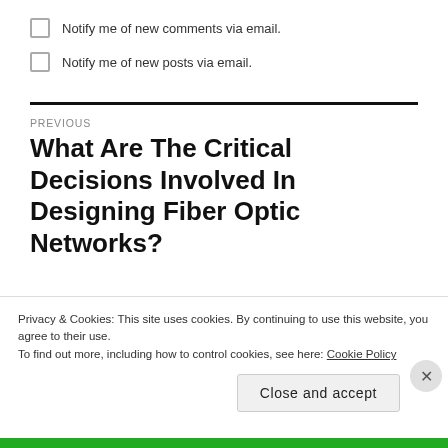Notify me of new comments via email.
Notify me of new posts via email.
PREVIOUS
What Are The Critical Decisions Involved In Designing Fiber Optic Networks?
Privacy & Cookies: This site uses cookies. By continuing to use this website, you agree to their use.
To find out more, including how to control cookies, see here: Cookie Policy
Close and accept